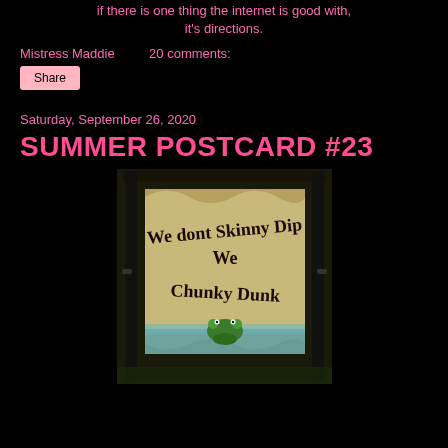if there is one thing the internet is good with, it's directions.
Mistress Maddie    20 comments:
Share
Saturday, September 26, 2020
SUMMER POSTCARD #23
[Figure (photo): A decorative metal frame sign reading 'We dont Skinny Dip we Chunky Dunk' with a painted frog illustration on a green and blue background, set outdoors among foliage.]